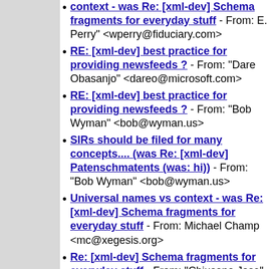context - was Re: [xml-dev] Schema fragments for everyday stuff - From: E. Perry" <wperry@fiduciary.com>
RE: [xml-dev] best practice for providing newsfeeds ? - From: "Dare Obasanjo" <dareo@microsoft.com>
RE: [xml-dev] best practice for providing newsfeeds ? - From: "Bob Wyman" <bob@wyman.us>
SIRs should be filed for many concepts.... (was Re: [xml-dev] Patenschmatents (was: hi)) - From: "Bob Wyman" <bob@wyman.us>
Universal names vs context - was Re: [xml-dev] Schema fragments for everyday stuff - From: Michael Champ <mc@xegesis.org>
Re: [xml-dev] Schema fragments for everyday stuff - From: "Chiusano Jose" <chiusano_joseph@bah.com>
Re: [xml-dev] best practice for providing newsfeeds ? - From: Tim B <tbray@textuality.com>
RE: [xml-dev] best practice for providing newsfeeds ? - From: Bob Wyman <bob@wyman.us>